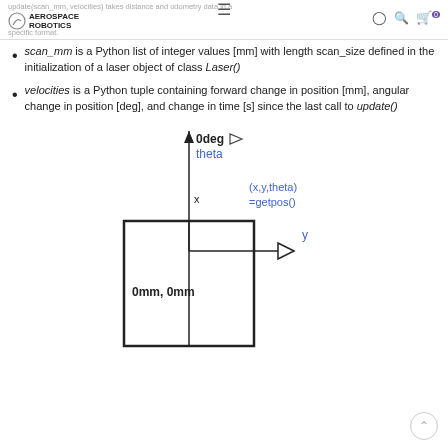update(scan_mm, velocities) takes distance and odometry data in a specific format. AEROSPACE ROBOTICS
scan_mm is a Python list of integer values [mm] with length scan_size defined in the initialization of a laser object of class Laser()
velocities is a Python tuple containing forward change in position [mm], angular change in position [deg], and change in time [s] since the last call to update()
[Figure (engineering-diagram): Coordinate system diagram showing a rectangular robot footprint. A vertical axis labeled 'x' with upward arrow and '0deg' label with rightward arrow for theta. A horizontal axis labeled 'y' with rightward hollow arrow. The origin is labeled '0mm, 0mm'. A blue label '(x,y,theta) =getpos()' appears to the upper right.]